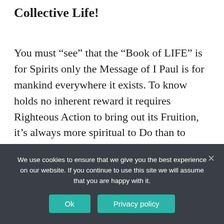Collective Life!
You must “see” that the “Book of LIFE” is for Spirits only the Message of I Paul is for mankind everywhere it exists. To know holds no inherent reward it requires Righteous Action to bring out its Fruition, it’s always more spiritual to Do than to “be.” Being is always and in all ways a matter for the Future. After all, we of “the Family” know our day is Future.
Now the Message of I Paul is not given to only
We use cookies to ensure that we give you the best experience on our website. If you continue to use this site we will assume that you are happy with it.